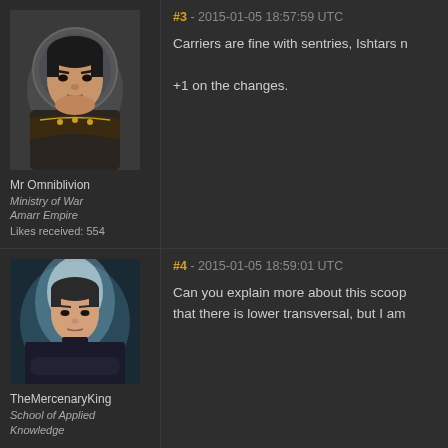#3 - 2015-01-05 18:57:59 UTC
Carriers are fine with sentries, Ishtars n
+1 on the changes.
[Figure (illustration): Avatar portrait of Mr Omniblivion, an Asian-looking male character in fantasy/sci-fi armor]
Mr Omniblivion
Ministry of War
Amarr Empire
Likes received: 554
#4 - 2015-01-05 18:59:01 UTC
Can you explain more about this scoop that there is lower transversal, but I am
[Figure (illustration): Avatar portrait of TheMercenaryKing, a male character in dark outfit against a light background, arms crossed]
TheMercenaryKing
School of Applied Knowledge